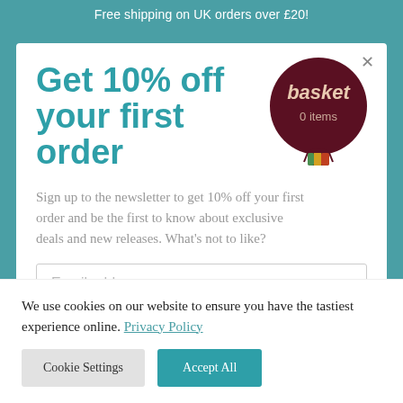Free shipping on UK orders over £20!
Get 10% off your first order
[Figure (illustration): Hot air balloon basket logo with text 'basket' and '0 items' in dark red/maroon circular badge]
Sign up to the newsletter to get 10% off your first order and be the first to know about exclusive deals and new releases. What's not to like?
Email address
We use cookies on our website to ensure you have the tastiest experience online. Privacy Policy
Cookie Settings
Accept All